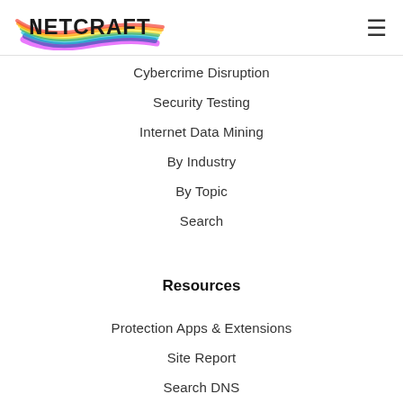Netcraft
Cybercrime Disruption
Security Testing
Internet Data Mining
By Industry
By Topic
Search
Resources
Protection Apps & Extensions
Site Report
Search DNS